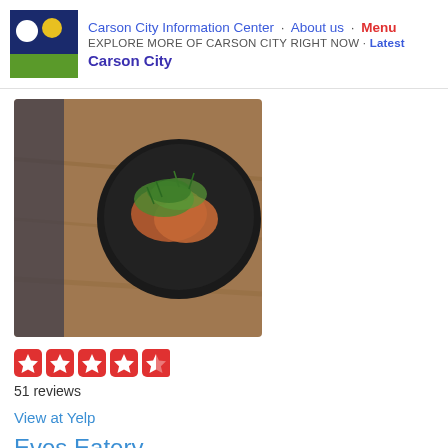Carson City Information Center · About us · Menu
EXPLORE MORE OF CARSON CITY RIGHT NOW · Latest
Carson City
[Figure (photo): Food photo: a black plate with bruschetta or toast topped with greens and tomatoes, on a wooden surface]
[Figure (other): Yelp star rating: 4.5 stars out of 5, shown as red star boxes]
51 reviews
View at Yelp
Eves Eatery
Pizza Newamerican
402 N Carson St
Carson City, NV 89701